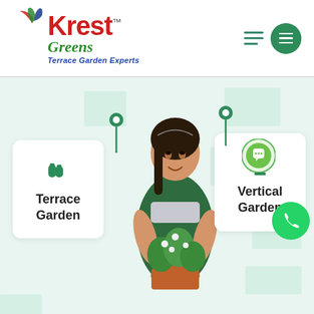[Figure (logo): Krest Greens logo with leaf decoration, tagline 'Terrace Garden Experts']
[Figure (other): Hamburger menu icon and green circle with menu lines]
[Figure (infographic): Garden services page with Terrace Garden and Vertical Garden cards, woman holding plant pot, decorative mint squares, pin markers, WhatsApp chat and call buttons]
Terrace Garden
Vertical Garden